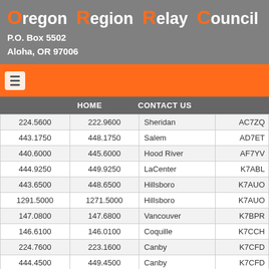Oregon Region Relay Council
P.O. Box 5502
Aloha, OR 97006
HOME   CONTACT US
|  |  |  |  |
| --- | --- | --- | --- |
| 224.5600 | 222.9600 | Sheridan | AC7ZQ |
| 443.1750 | 448.1750 | Salem | AD7ET |
| 440.6000 | 445.6000 | Hood River | AF7YV |
| 444.9250 | 449.9250 | LaCenter | K7ABL |
| 443.6500 | 448.6500 | Hillsboro | K7AUO |
| 1291.5000 | 1271.5000 | Hillsboro | K7AUO |
| 147.0800 | 147.6800 | Vancouver | K7BPR |
| 146.6100 | 146.0100 | Coquille | K7CCH |
| 224.7600 | 223.1600 | Canby | K7CFD |
| 444.4500 | 449.4500 | Canby | K7CFD |
| 224.4200 | 224.8400 | Yacolt | K7CLI |